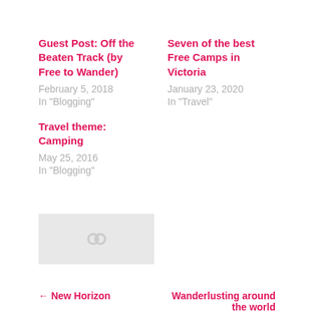Guest Post: Off the Beaten Track (by Free to Wander)
February 5, 2018
In "Blogging"
Seven of the best Free Camps in Victoria
January 23, 2020
In "Travel"
Travel theme: Camping
May 25, 2016
In "Blogging"
[Figure (other): Grey placeholder image with link icon]
← New Horizon    Wanderlusting around the world